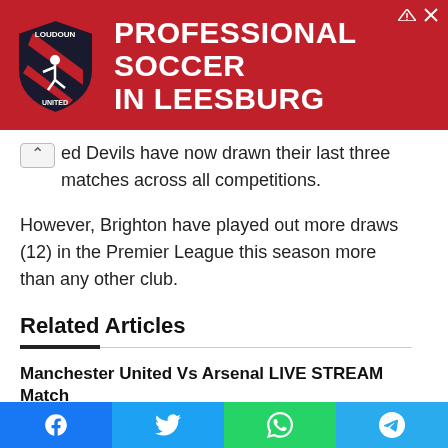[Figure (infographic): Red banner advertisement for Loudoun Soccer - Professional Soccer in Leesburg, with shield logo on left]
ed Devils have now drawn their last three matches across all competitions.
However, Brighton have played out more draws (12) in the Premier League this season more than any other club.
Related Articles
Manchester United Vs Arsenal LIVE STREAM Match
2 days ago
[Figure (photo): Two people - a man in black suit on left and Cristiano Ronaldo in Man Utd red jersey on right]
Will Ronaldo Start Vs Arsenal? Man Utd Coach Ten Hag REVEALS Decision!